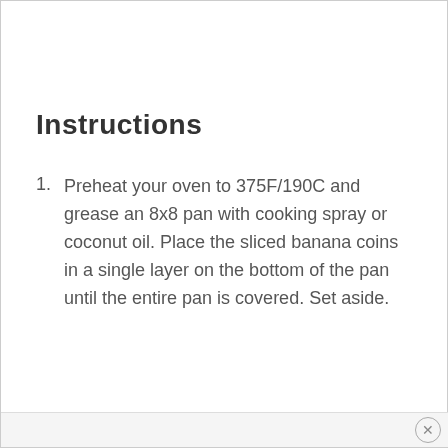Instructions
Preheat your oven to 375F/190C and grease an 8x8 pan with cooking spray or coconut oil. Place the sliced banana coins in a single layer on the bottom of the pan until the entire pan is covered. Set aside.